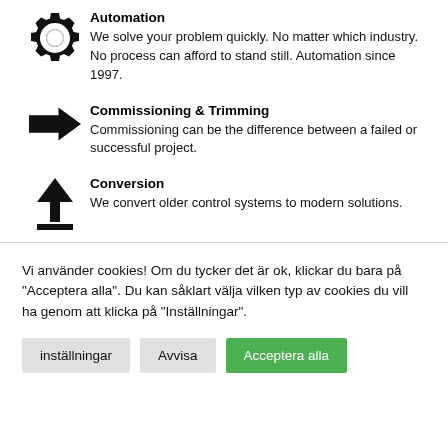Automation
We solve your problem quickly. No matter which industry. No process can afford to stand still. Automation since 1997.
Commissioning & Trimming
Commissioning can be the difference between a failed or successful project.
Conversion
We convert older control systems to modern solutions.
Vi använder cookies! Om du tycker det är ok, klickar du bara på "Acceptera alla". Du kan såklart välja vilken typ av cookies du vill ha genom att klicka på "Inställningar".
inställningar | Avvisa | Acceptera alla